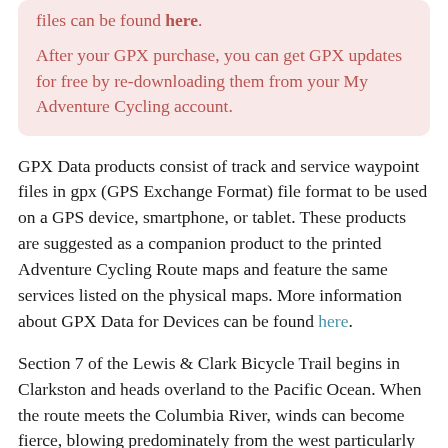files can be found here. After your GPX purchase, you can get GPX updates for free by re-downloading them from your My Adventure Cycling account.
GPX Data products consist of track and service waypoint files in gpx (GPS Exchange Format) file format to be used on a GPS device, smartphone, or tablet. These products are suggested as a companion product to the printed Adventure Cycling Route maps and feature the same services listed on the physical maps. More information about GPX Data for Devices can be found here.
Section 7 of the Lewis & Clark Bicycle Trail begins in Clarkston and heads overland to the Pacific Ocean. When the route meets the Columbia River, winds can become fierce, blowing predominately from the west particularly in the area known as the Gorge. This